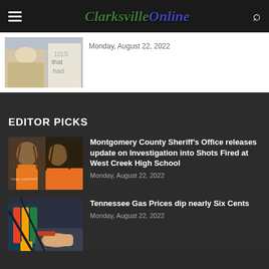Clarksville Online
[Figure (photo): Photo of person with blonde hair looking down at paper with text/letters]
Monday, August 22, 2022
EDITOR PICKS
[Figure (photo): Mugshot photos of two individuals from Montgomery County Sheriff's Office (mcgtn.org/sheriff)]
Montgomery County Sheriff's Office releases update on Investigation into Shots Fired at West Creek High School
Monday, August 22, 2022
[Figure (photo): Photo of gas pump nozzles with colorful handles and a person's hands]
Tennessee Gas Prices dip nearly Six Cents
Monday, August 22, 2022